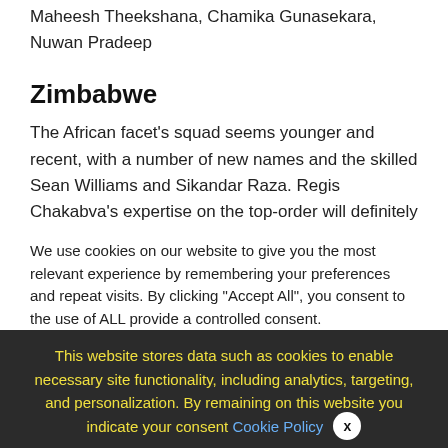Maheesh Theekshana, Chamika Gunasekara, Nuwan Pradeep
Zimbabwe
The African facet's squad seems younger and recent, with a number of new names and the skilled Sean Williams and Sikandar Raza. Regis Chakabva's expertise on the top-order will definitely assist as he's the one participant that we will be careful for on this sequence.
We use cookies on our website to give you the most relevant experience by remembering your preferences and repeat visits. By clicking "Accept All", you consent to the use of ALL provide a controlled consent.
This website stores data such as cookies to enable necessary site functionality, including analytics, targeting, and personalization. By remaining on this website you indicate your consent Cookie Policy